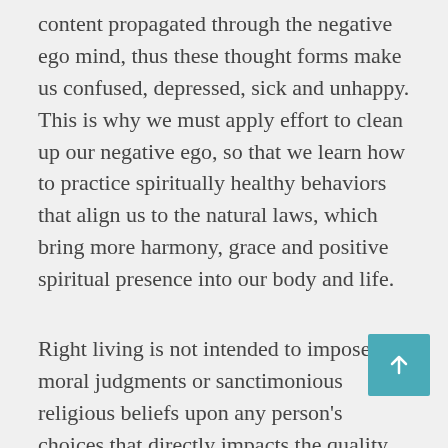content propagated through the negative ego mind, thus these thought forms make us confused, depressed, sick and unhappy. This is why we must apply effort to clean up our negative ego, so that we learn how to practice spiritually healthy behaviors that align us to the natural laws, which bring more harmony, grace and positive spiritual presence into our body and life.
Right living is not intended to impose moral judgments or sanctimonious religious beliefs upon any person's choices that directly impacts the quality of their life, or to judge how these thoughts, behaviors and actions influence the people around them. Right living is to help inspire us to remember that the main purpose of earth incarnation is for